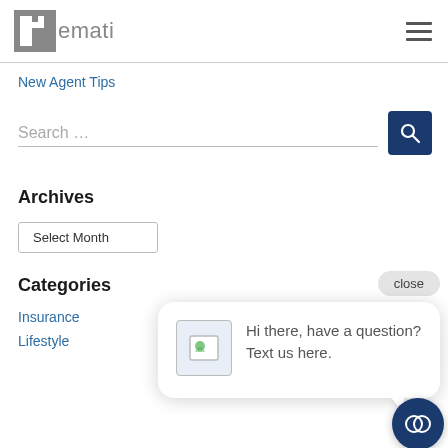[Figure (logo): Hemati insurance agency logo with stylized H icon in gray]
New Agent Tips
Search …
Archives
Select Month
Categories
Insurance
Lifestyle
[Figure (screenshot): Chat popup with close button, image icon, and text: Hi there, have a question? Text us here. Also floating chat button at bottom right.]